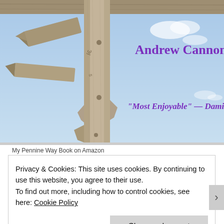[Figure (photo): Book cover showing a weathered wooden signpost against a blue sky. Purple bold text reads 'Andrew Cannon' and purple italic text reads '"Most Enjoyable" — Damian Hall'.]
My Pennine Way Book on Amazon
Privacy & Cookies: This site uses cookies. By continuing to use this website, you agree to their use.
To find out more, including how to control cookies, see here: Cookie Policy
Close and accept